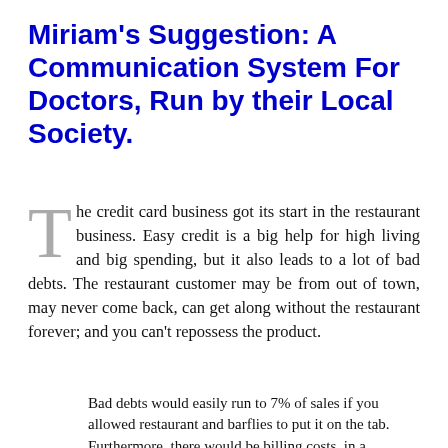Miriam's Suggestion: A Communication System For Doctors, Run by their Local Society.
The credit card business got its start in the restaurant business. Easy credit is a big help for high living and big spending, but it also leads to a lot of bad debts. The restaurant customer may be from out of town, may never come back, can get along without the restaurant forever; and you can't repossess the product.
Bad debts would easily run to 7% of sales if you allowed restaurant and barflies to put it on the tab. Furthermore, there would be billing costs, in a business traditionally run on the basis of "cash on the barrelhead". Extending credit leads to impairment of cash flow; the bar owner might be forced to borrow money, just to buy more liquor to remain in business until the end of the month when the bills were eventually paid. If they were paid.